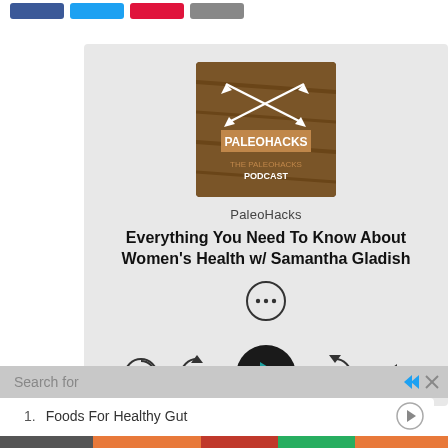[Figure (screenshot): Social share buttons: Facebook (blue), Twitter (cyan), Pinterest (red), Email (grey)]
[Figure (screenshot): PaleoHacks podcast player card showing podcast logo, episode title 'Everything You Need To Know About Women's Health w/ Samantha Gladish', playback controls including 1x speed, rewind 15s, play button, forward 60s, and volume button]
PaleoHacks
Everything You Need To Know About Women's Health w/ Samantha Gladish
Search for
1.  Foods For Healthy Gut